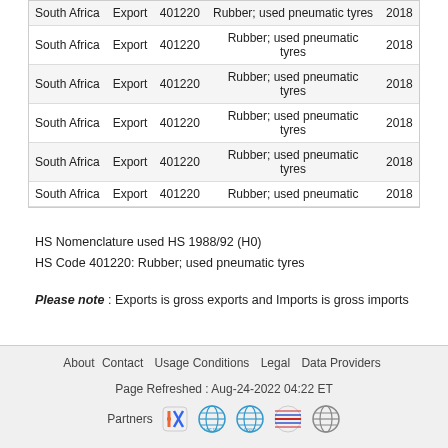| Country | Trade Flow | Code | Description | Year |
| --- | --- | --- | --- | --- |
| South Africa | Export | 401220 | Rubber; used pneumatic tyres | 2018 |
| South Africa | Export | 401220 | Rubber; used pneumatic tyres | 2018 |
| South Africa | Export | 401220 | Rubber; used pneumatic tyres | 2018 |
| South Africa | Export | 401220 | Rubber; used pneumatic tyres | 2018 |
| South Africa | Export | 401220 | Rubber; used pneumatic tyres | 2018 |
| South Africa | Export | 401220 | Rubber; used pneumatic tyres | 2018 |
HS Nomenclature used HS 1988/92 (H0)
HS Code 401220: Rubber; used pneumatic tyres
Please note : Exports is gross exports and Imports is gross imports
About   Contact   Usage Conditions   Legal   Data Providers
Page Refreshed : Aug-24-2022 04:22 ET
Partners